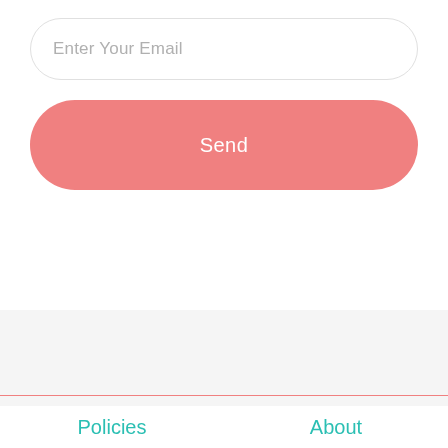Enter Your Email
Send
Policies
About